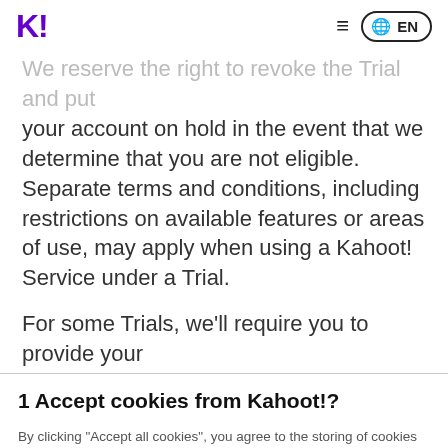K! EN
We reserve the right to revoke the Trial and put your account on hold in the event that we determine that you are not eligible. Separate terms and conditions, including restrictions on available features or areas of use, may apply when using a Kahoot! Service under a Trial.

For some Trials, we'll require you to provide your
1 Accept cookies from Kahoot!?
By clicking "Accept all cookies", you agree to the storing of cookies on your device to enhance site navigation, analyze site usage, and assist in our marketing efforts.
Accept all cookies | Reject all | Cookies settings